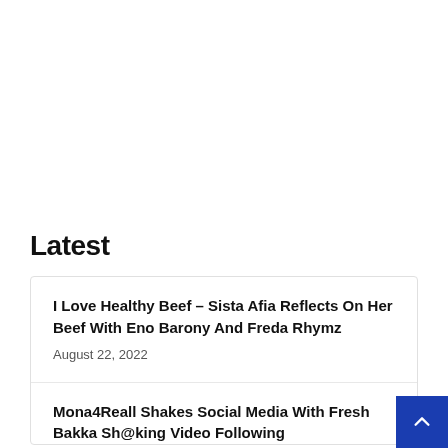Latest
I Love Healthy Beef – Sista Afia Reflects On Her Beef With Eno Barony And Freda Rhymz
August 22, 2022
Mona4Reall Shakes Social Media With Fresh Bakka Sh@king Video Following